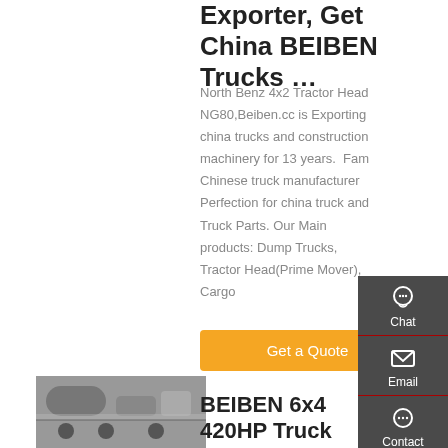Exporter, Get China BEIBEN Trucks ...
North Benz 4x2 Tractor Head NG80,Beiben.cc is Exporting china trucks and construction machinery for 13 years. Famous Chinese truck manufacturers, Perfection for china truck and Truck Parts. Our Main products: Dump Trucks, Tractor Head(Prime Mover), Cargo
[Figure (other): Orange 'Get a Quote' button]
[Figure (photo): Underside/chassis view of a truck, grey mechanical components visible]
BEIBEN 6x4 420HP Truck Head